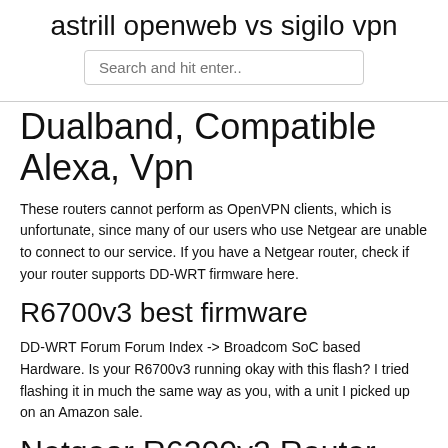astrill openweb vs sigilo vpn
Dualband, Compatible Alexa, Vpn
These routers cannot perform as OpenVPN clients, which is unfortunate, since many of our users who use Netgear are unable to connect to our service. If you have a Netgear router, check if your router supports DD-WRT firmware here.
R6700v3 best firmware
DD-WRT Forum Forum Index -> Broadcom SoC based Hardware. Is your R6700v3 running okay with this flash? I tried flashing it in much the same way as you, with a unit I picked up on an Amazon sale.
Netgear R6300v2 Router VPN de múltiples proveedores de